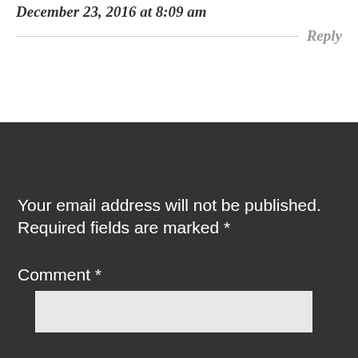December 23, 2016 at 8:09 am
Reply
Your email address will not be published. Required fields are marked *
Comment *